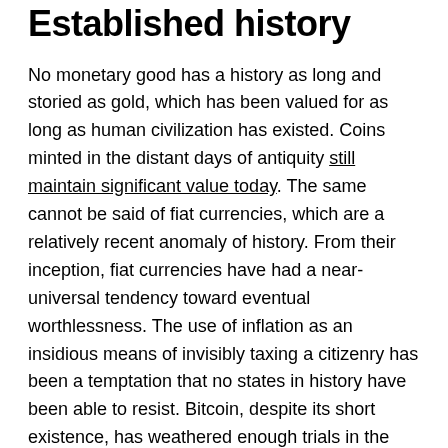Established history
No monetary good has a history as long and storied as gold, which has been valued for as long as human civilization has existed. Coins minted in the distant days of antiquity still maintain significant value today. The same cannot be said of fiat currencies, which are a relatively recent anomaly of history. From their inception, fiat currencies have had a near-universal tendency toward eventual worthlessness. The use of inflation as an insidious means of invisibly taxing a citizenry has been a temptation that no states in history have been able to resist. Bitcoin, despite its short existence, has weathered enough trials in the market that there is a high likelihood it will not vanish as a valued asset any time soon. Furthermore, the Lindy effect suggests that the longer Bitcoin remains in existence, the more confident we can be that it will